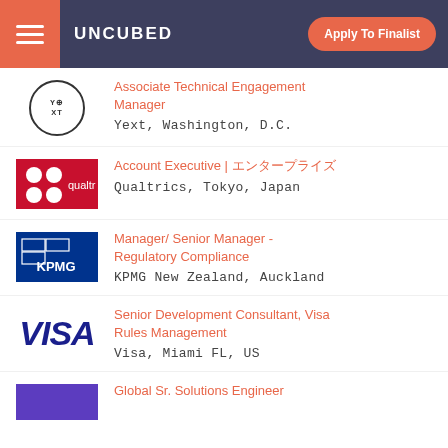UNCUBED — Apply To Finalist
Associate Technical Engagement Manager — Yext, Washington, D.C.
Account Executive | エンタープライズ — Qualtrics, Tokyo, Japan
Manager/ Senior Manager - Regulatory Compliance — KPMG New Zealand, Auckland
Senior Development Consultant, Visa Rules Management — Visa, Miami FL, US
Global Sr. Solutions Engineer